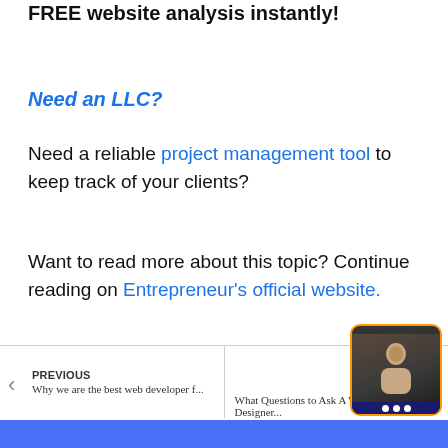FREE website analysis instantly!
Need an LLC?
Need a reliable project management tool to keep track of your clients?
Want to read more about this topic? Continue reading on Entrepreneur's official website.
PREVIOUS Why we are the best web developer f... | NEXT What Questions to Ask A Web Designer...